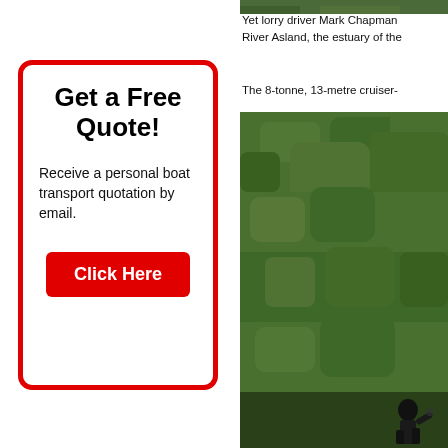[Figure (other): Top strip of green foliage photo, partially visible at top of right column]
Yet lorry driver Mark Chapman River Asland, the estuary of the
The 8-tonne, 13-metre cruiser-
Get a Free Quote!
Receive a personal boat transport quotation by email.
Click Here
[Figure (photo): Large photo of dense green foliage/hedge with a person visible at bottom right]